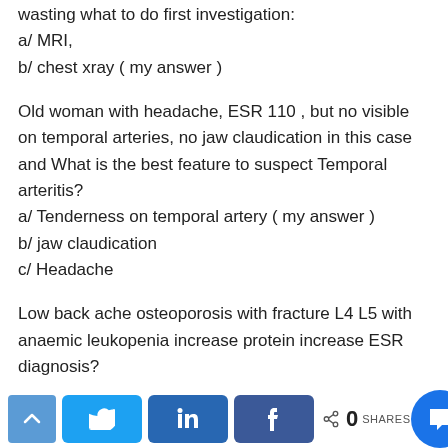wasting what to do first investigation:
a/ MRI,
b/ chest xray ( my answer )
Old woman with headache, ESR 110 , but no visible on temporal arteries, no jaw claudication in this case and What is the best feature to suspect Temporal arteritis?
a/ Tenderness on temporal artery ( my answer )
b/ jaw claudication
c/ Headache
Low back ache osteoporosis with fracture L4 L5 with anaemic leukopenia increase protein increase ESR diagnosis?
Twitter, LinkedIn, Facebook share buttons. 0 SHARES